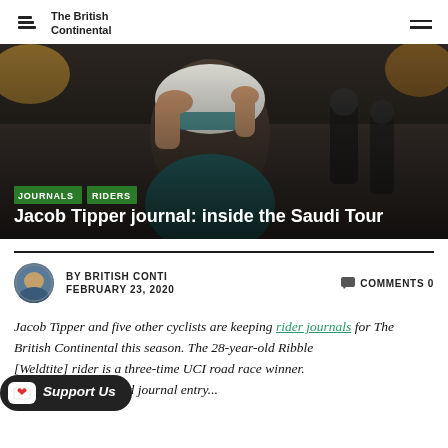The British Continental
[Figure (photo): A cyclist adjusting sunglasses and helmet, wearing a team kit, with team staff visible in the background. Green tag labels 'JOURNALS' and 'RIDERS' overlaid at bottom left, with white title text 'Jacob Tipper journal: inside the Saudi Tour'.]
BY BRITISH CONTI  FEBRUARY 23, 2020  COMMENTS 0
Jacob Tipper and five other cyclists are keeping rider journals for The British Continental this season. The 28-year-old Ribble [Weldtite] rider is a three-time UCI road race winner. This is Jacob's second journal entry...